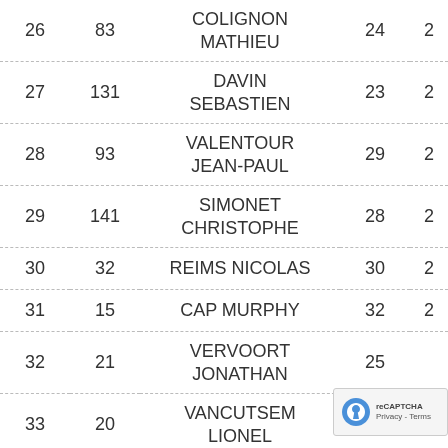| Pos | Nr | Name | Age | ? |
| --- | --- | --- | --- | --- |
| 26 | 83 | COLIGNON MATHIEU | 24 | 2 |
| 27 | 131 | DAVIN SEBASTIEN | 23 | 2 |
| 28 | 93 | VALENTOUR JEAN-PAUL | 29 | 2 |
| 29 | 141 | SIMONET CHRISTOPHE | 28 | 2 |
| 30 | 32 | REIMS NICOLAS | 30 | 2 |
| 31 | 15 | CAP MURPHY | 32 | 2 |
| 32 | 21 | VERVOORT JONATHAN | 25 | 0 |
| 33 | 20 | VANCUTSEM LIONEL | 31 |  |